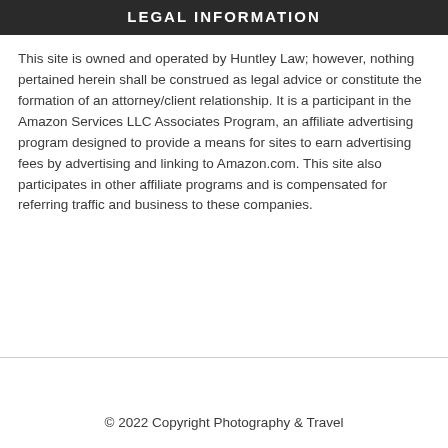LEGAL INFORMATION
This site is owned and operated by Huntley Law; however, nothing pertained herein shall be construed as legal advice or constitute the formation of an attorney/client relationship. It is a participant in the Amazon Services LLC Associates Program, an affiliate advertising program designed to provide a means for sites to earn advertising fees by advertising and linking to Amazon.com. This site also participates in other affiliate programs and is compensated for referring traffic and business to these companies.
© 2022 Copyright Photography & Travel